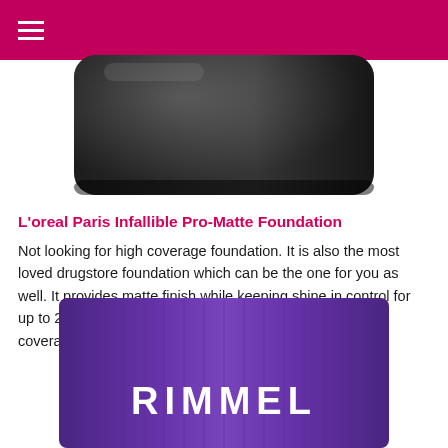[Figure (photo): Top portion of a black foundation bottle/compact product against white background]
L'oreal Paris Infallible Pro-Matte Foundation
Not looking for high coverage foundation. It is also the most loved drugstore foundation which can be the one for you as well. It provides matte finish while keeping shine in control for up to 24 hrs. And having light weight formula with medium coverage, it is a good pick for everyday.
[Figure (photo): Purple Rimmel foundation tube product, showing the top portion with RIMMEL text in white lettering]